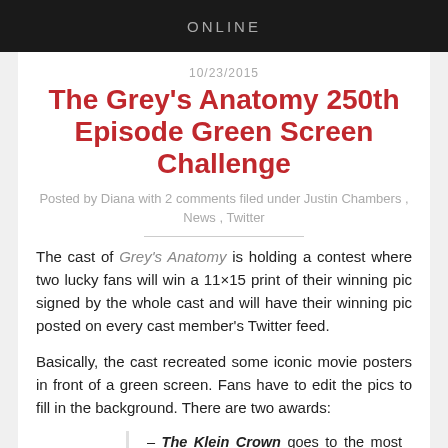ONLINE
10/23/2015
The Grey's Anatomy 250th Episode Green Screen Challenge
Posted by Diana with 2 comments filed under Justin Chambers , News , Twitter
The cast of Grey's Anatomy is holding a contest where two lucky fans will win a 11×15 print of their winning pic signed by the whole cast and will have their winning pic posted on every cast member's Twitter feed.
Basically, the cast recreated some iconic movie posters in front of a green screen. Fans have to edit the pics to fill in the background. There are two awards:
– The Klein Crown goes to the most accurate recreation of the original movie